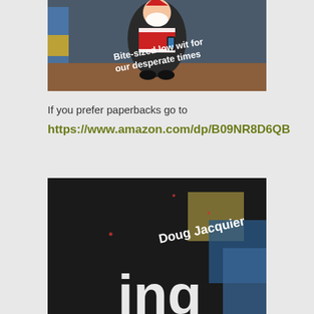[Figure (photo): Photo of a Santa Claus figurine holding a phone, wearing a black shirt, on a wooden table with colorful background. Text overlay reads: 'Bite-sized low wit for our desperate times']
If you prefer paperbacks go to
https://www.amazon.com/dp/B09NR8D6QB
[Figure (photo): Dark background photo showing book cover with text 'Doug Jacquier' and partial large text 'ing' visible at the bottom, with geometric colored shapes.]